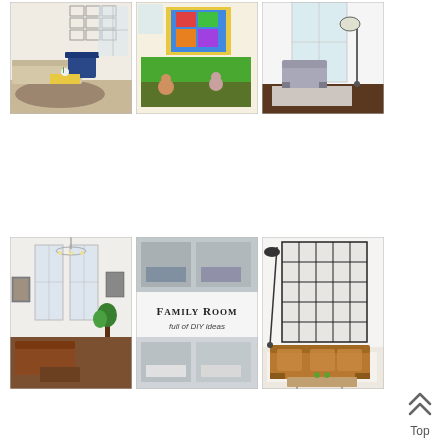[Figure (photo): Living room with beige sofa, blue accent chair, yellow table, gallery wall with framed photos]
[Figure (photo): Colorful playroom with green rug, stuffed animals, and bright artwork]
[Figure (photo): Minimalist living room with grey armchair and floor lamp by window]
[Figure (photo): Eclectic living room with chandelier, tall windows, plants, and mid-century furniture]
[Figure (photo): Family Room full of DIY ideas - collage of grey and white living room photos with text overlay]
[Figure (photo): Modern living room with industrial grid wall partition, tan leather sofa, and floor lamp]
Top